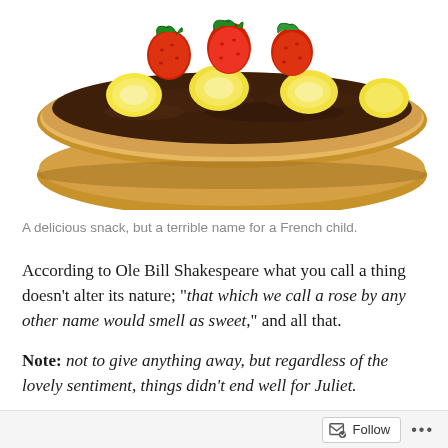[Figure (photo): Photo of a slice of bread topped with chocolate spread (Nutella), banana slices, and strawberries on a white background — partially cropped at the top.]
A delicious snack, but a terrible name for a French child.
According to Ole Bill Shakespeare what you call a thing doesn't alter its nature; “that which we call a rose by any other name would smell as sweet,” and all that.
Note: not to give anything away, but regardless of the lovely sentiment, things didn't end well for Juliet.
It seems a court in Northern France disagrees with the